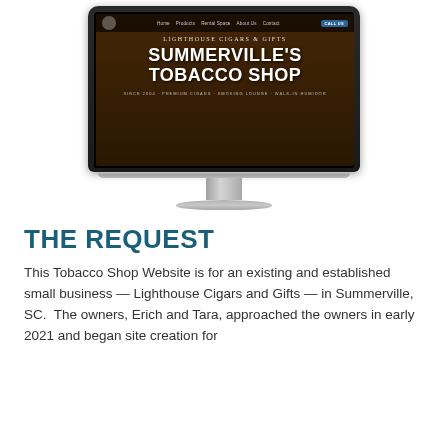[Figure (screenshot): Screenshot of Lighthouse Cigars & Gifts website displayed on an iMac monitor mockup. The website shows a hero section with the heading 'SUMMERVILLE'S TOBACCO SHOP' and subtitle 'LIGHTHOUSE CIGARS & GIFTS', with a tagline 'SINCE 2004 · PREMIUM CIGARS · SMOKING LOUNGE · WALK-IN HUMIDOR'. Navigation bar at top shows Home, Products, Rental Space, About Us, Contact, and a CALL US button.]
THE REQUEST
This Tobacco Shop Website is for an existing and established small business — Lighthouse Cigars and Gifts — in Summerville, SC.  The owners, Erich and Tara, approached the owners in early 2021 and began site creation for